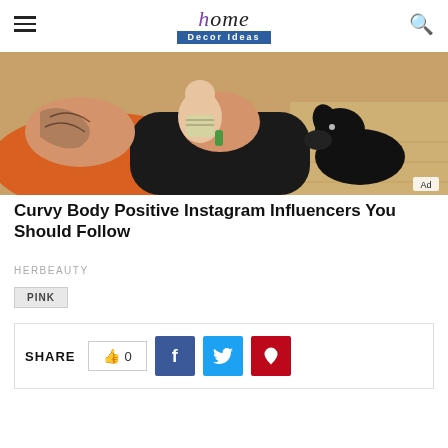home Decor Ideas
[Figure (photo): Photo of a tattooed person holding a baby with a black dog nearby, orange cushion in background. Ad badge in bottom right corner.]
Curvy Body Positive Instagram Influencers You Should Follow
HERBEAUTY
PINK
SHARE  0